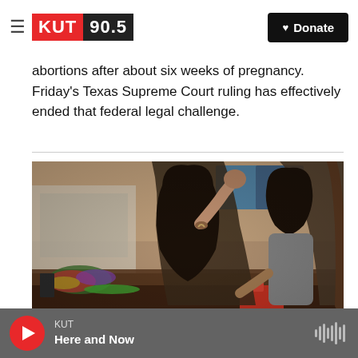KUT 90.5 | Donate
abortions after about six weeks of pregnancy. Friday's Texas Supreme Court ruling has effectively ended that federal legal challenge.
[Figure (photo): A woman with dark hair and a bracelet sits at a table, leaning on one hand, talking to a young child holding a red toy. Various colorful items are on the table. A TV is visible in the background.]
COVID-19
KUT | Here and Now